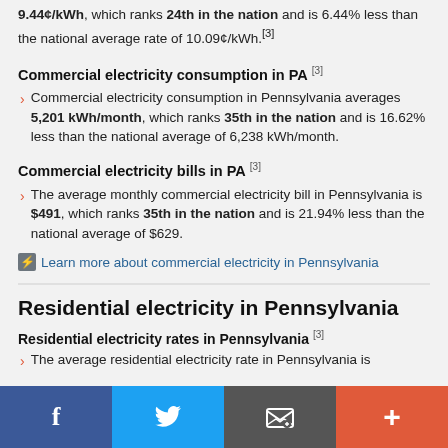9.44¢/kWh, which ranks 24th in the nation and is 6.44% less than the national average rate of 10.09¢/kWh.[3]
Commercial electricity consumption in PA [3]
Commercial electricity consumption in Pennsylvania averages 5,201 kWh/month, which ranks 35th in the nation and is 16.62% less than the national average of 6,238 kWh/month.
Commercial electricity bills in PA [3]
The average monthly commercial electricity bill in Pennsylvania is $491, which ranks 35th in the nation and is 21.94% less than the national average of $629.
Learn more about commercial electricity in Pennsylvania
Residential electricity in Pennsylvania
Residential electricity rates in Pennsylvania [3]
The average residential electricity rate in Pennsylvania is